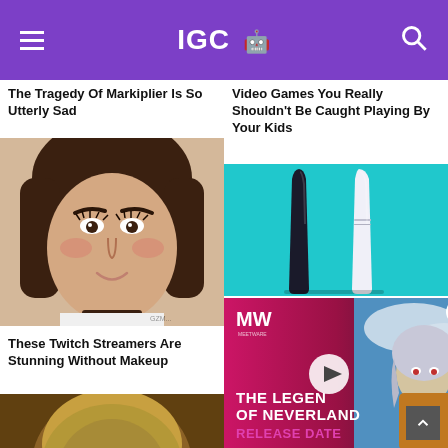IGC
The Tragedy Of Markiplier Is So Utterly Sad
Video Games You Really Shouldn't Be Caught Playing By Your Kids
[Figure (photo): Close-up photo of a young woman with brown hair, heavy eye makeup, rosy cheeks]
These Twitch Streamers Are Stunning Without Makeup
[Figure (photo): PS5 console standing upright against teal background]
[Figure (screenshot): Advertisement for The Legend of Neverland with release date, MeetWare logo, anime character]
[Figure (photo): Close-up of an elderly fantasy character with yellow-green skin and intense eyes]
[Figure (screenshot): Animated superhero character against a cloudy sky background]